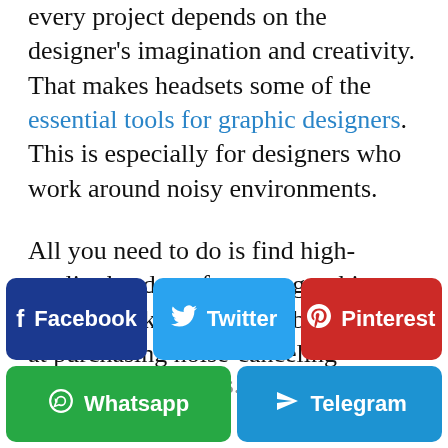every project depends on the designer's imagination and creativity. That makes headsets some of the essential tools for graphic designers. This is especially for designers who work around noisy environments.
All you need to do is find high-quality headsets for your graphic design work. Also, when buying, aim at purchasing noise-canceling headsets so that the creative juices flow without distractions. In addition, test the...
[Figure (other): Social media share buttons: Facebook (dark blue), Twitter (light blue), Pinterest (red), Whatsapp (green), Telegram (cyan blue)]